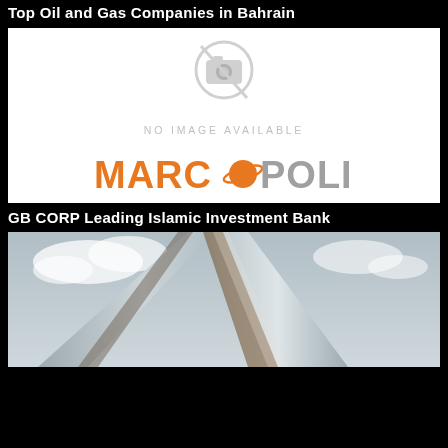Top Oil and Gas Companies in Bahrain
[Figure (logo): No image available placeholder with Marcopolis logo]
GB CORP Leading Islamic Investment Bank
[Figure (photo): Upward view of a modern glass skyscraper building against a cloudy sky]